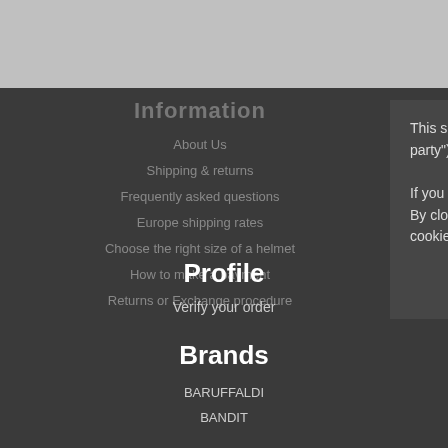Information
About Us
Shipping & returns
Frequently asked questions
Europe shipping rates
Choose the right size of a helmet
How to make a payment
Returns or Exchange procedure
Profile
Verify your order
Brands
BARUFFALDI
BANDIT
This site uses cookies to deliver its services and allows you to send cookies from other sites ("third-party") to send advertising and services in line with your preferences. If you want to learn more or opt out of all or some cookies click here . By closing this banner, scrolling this page or clicking any element, you give consent to the use of every cookie.
Ok, I get it